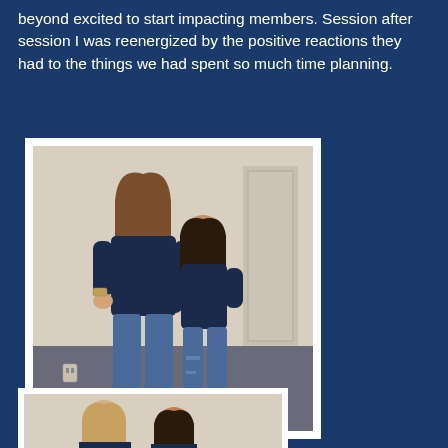beyond excited to start impacting members. Session after session I was reenergized by the positive reactions they had to the things we had spent so much time planning.
[Figure (photo): Two young women wearing matching navy blue t-shirts posing together in what appears to be a classroom or community center. The taller woman on the left has long brown hair and is smiling broadly; the shorter girl on the right is also smiling. Both are wearing jeans.]
[Figure (photo): Partial view of two people at the bottom of the page, similarly dressed, appearing to be another photo in the same setting.]